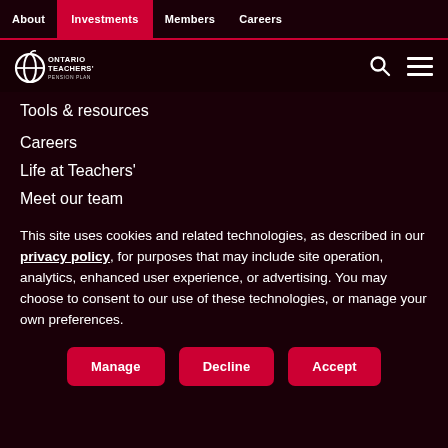About | Investments | Members | Careers
[Figure (logo): Ontario Teachers' Pension Plan logo — apple icon with circular graphic and ONTARIO TEACHERS' PENSION PLAN text in white on dark background]
Tools & resources
Careers
Life at Teachers'
Meet our team
This site uses cookies and related technologies, as described in our privacy policy, for purposes that may include site operation, analytics, enhanced user experience, or advertising. You may choose to consent to our use of these technologies, or manage your own preferences.
Manage | Decline | Accept